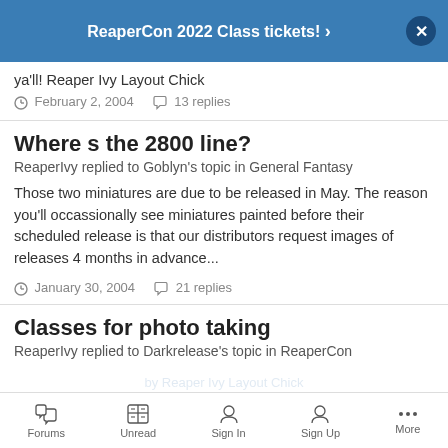ReaperCon 2022 Class tickets!
ya'll! Reaper Ivy Layout Chick
February 2, 2004   13 replies
Where s the 2800 line?
ReaperIvy replied to Goblyn's topic in General Fantasy
Those two miniatures are due to be released in May. The reason you'll occassionally see miniatures painted before their scheduled release is that our distributors request images of releases 4 months in advance...
January 30, 2004   21 replies
Classes for photo taking
ReaperIvy replied to Darkrelease's topic in ReaperCon
Forums   Unread   Sign In   Sign Up   More